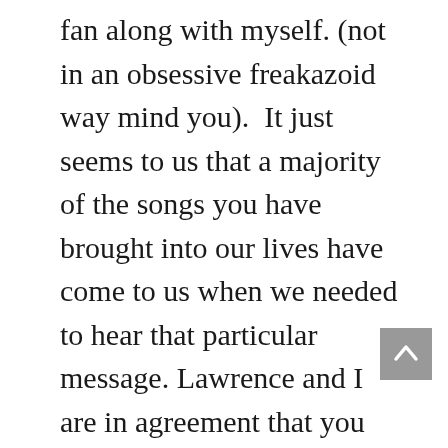fan along with myself. (not in an obsessive freakazoid way mind you).  It just seems to us that a majority of the songs you have brought into our lives have come to us when we needed to hear that particular message. Lawrence and I are in agreement that you are a true Genius!   About 13 years ago I was a D.J at a local radio station in Trinidad Colo. (KCRT).  It was there that I was able to bring  your